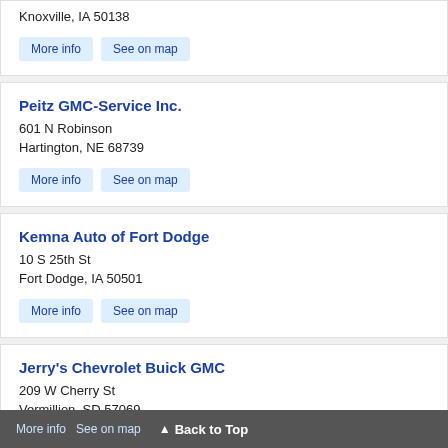1700 North Lincoln Street
Knoxville, IA 50138
More info | See on map
Peitz GMC-Service Inc.
601 N Robinson
Hartington, NE 68739
More info | See on map
Kemna Auto of Fort Dodge
10 S 25th St
Fort Dodge, IA 50501
More info | See on map
Jerry's Chevrolet Buick GMC
209 W Cherry St
Vermillion, SD 57069
More info  See on map  ▲ Back to Top